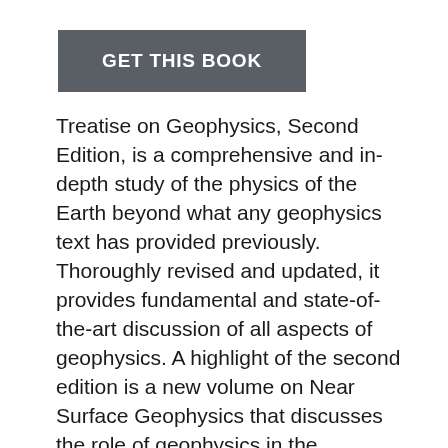GET THIS BOOK
Treatise on Geophysics, Second Edition, is a comprehensive and in-depth study of the physics of the Earth beyond what any geophysics text has provided previously. Thoroughly revised and updated, it provides fundamental and state-of-the-art discussion of all aspects of geophysics. A highlight of the second edition is a new volume on Near Surface Geophysics that discusses the role of geophysics in the exploitation and conservation of natural resources and the assessment of degradation of natural systems by pollution. Additional features